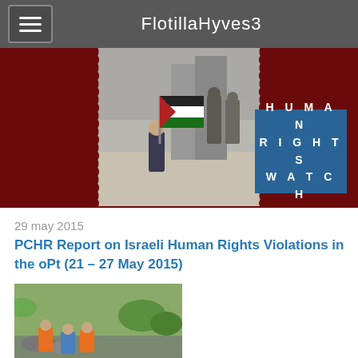FlotillaHyves3
[Figure (photo): Banner with dark red background showing a child carrying a Palestinian flag in front of soldiers, with a Human Rights Watch logo box on the right]
29 may 2015
PCHR Report on Israeli Human Rights Violations in the oPt (21 – 27 May 2015)
[Figure (photo): Thumbnail photo showing people in orange vests in a field]